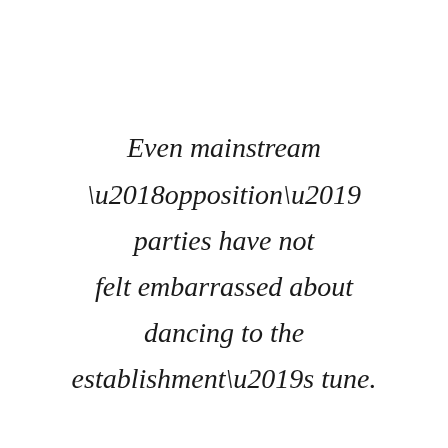Even mainstream ‘opposition’ parties have not felt embarrassed about dancing to the establishment’s tune.